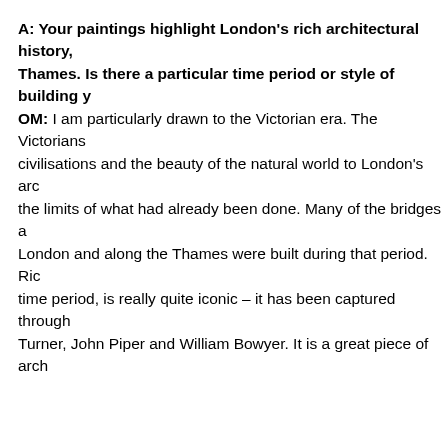A: Your paintings highlight London's rich architectural history, Thames. Is there a particular time period or style of building y
OM: I am particularly drawn to the Victorian era. The Victorians civilisations and the beauty of the natural world to London's arc the limits of what had already been done. Many of the bridges a London and along the Thames were built during that period. Ric time period, is really quite iconic – it has been captured through Turner, John Piper and William Bowyer. It is a great piece of arch